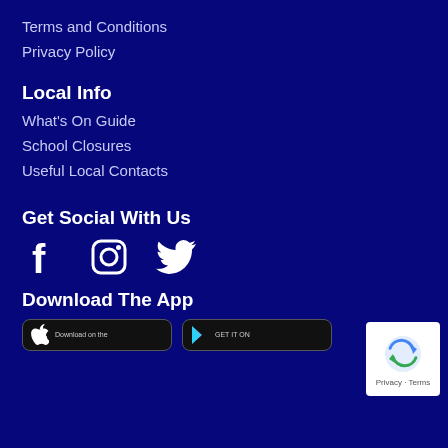Terms and Conditions
Privacy Policy
Local Info
What's On Guide
School Closures
Useful Local Contacts
Get Social With Us
[Figure (illustration): Social media icons: Facebook (f), Instagram (camera loop), Twitter (bird)]
Download The App
[Figure (screenshot): Two app store buttons: 'Download on the App Store' and 'GET IT ON Google Play']
[Figure (logo): reCAPTCHA badge with recycling-arrow logo and 'Privacy - Terms' text]